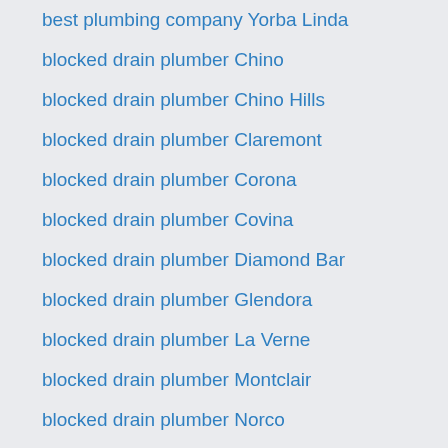best plumbing company Yorba Linda
blocked drain plumber Chino
blocked drain plumber Chino Hills
blocked drain plumber Claremont
blocked drain plumber Corona
blocked drain plumber Covina
blocked drain plumber Diamond Bar
blocked drain plumber Glendora
blocked drain plumber La Verne
blocked drain plumber Montclair
blocked drain plumber Norco
blocked drain plumber Ontario
blocked drain plumber Pomona
blocked drain plumber Rancho Cucamonga
blocked drain plumber Rowland Heights